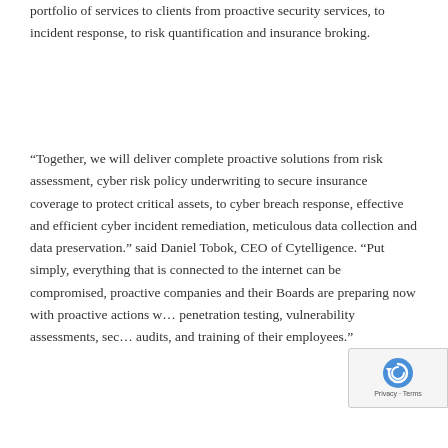portfolio of services to clients from proactive security services, to incident response, to risk quantification and insurance broking.
“Together, we will deliver complete proactive solutions from risk assessment, cyber risk policy underwriting to secure insurance coverage to protect critical assets, to cyber breach response, effective and efficient cyber incident remediation, meticulous data collection and data preservation.” said Daniel Tobok, CEO of Cytelligence. “Put simply, everything that is connected to the internet can be compromised, proactive companies and their Boards are preparing now with proactive actions w… penetration testing, vulnerability assessments, sec… audits, and training of their employees.”